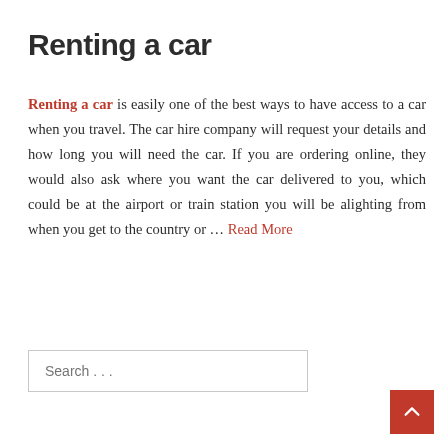Renting a car
Renting a car is easily one of the best ways to have access to a car when you travel. The car hire company will request your details and how long you will need the car. If you are ordering online, they would also ask where you want the car delivered to you, which could be at the airport or train station you will be alighting from when you get to the country or … Read More
Search ...